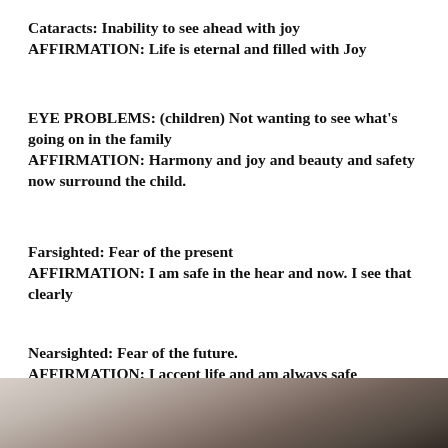Cataracts: Inability to see ahead with joy
AFFIRMATION: Life is eternal and filled with Joy
EYE PROBLEMS: (children) Not wanting to see what's going on in the family
AFFIRMATION: Harmony and joy and beauty and safety now surround the child.
Farsighted: Fear of the present
AFFIRMATION: I am safe in the hear and now. I see that clearly
Nearsighted: Fear of the future.
AFFIRMATION: I accept life and am always safe
[Figure (photo): Partial photo of a person, likely showing hair and background, cropped at bottom of page]